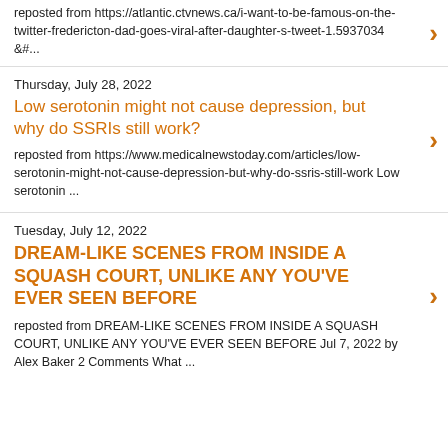reposted from https://atlantic.ctvnews.ca/i-want-to-be-famous-on-the-twitter-fredericton-dad-goes-viral-after-daughter-s-tweet-1.5937034 &#...
Thursday, July 28, 2022
Low serotonin might not cause depression, but why do SSRIs still work?
reposted from https://www.medicalnewstoday.com/articles/low-serotonin-might-not-cause-depression-but-why-do-ssris-still-work Low serotonin ...
Tuesday, July 12, 2022
DREAM-LIKE SCENES FROM INSIDE A SQUASH COURT, UNLIKE ANY YOU'VE EVER SEEN BEFORE
reposted from DREAM-LIKE SCENES FROM INSIDE A SQUASH COURT, UNLIKE ANY YOU'VE EVER SEEN BEFORE Jul 7, 2022 by Alex Baker 2 Comments What ...